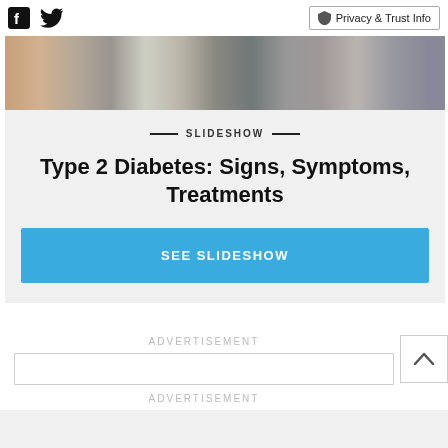Facebook Twitter | Privacy & Trust Info
[Figure (photo): Strip of thumbnail images showing people and textures for a slideshow about Type 2 Diabetes]
SLIDESHOW
Type 2 Diabetes: Signs, Symptoms, Treatments
SEE SLIDESHOW
ADVERTISEMENT
ADVERTISEMENT